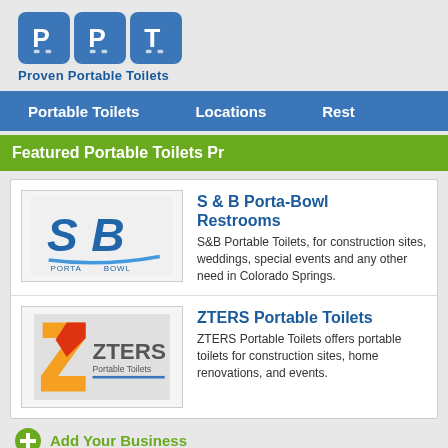[Figure (logo): PPT Proven Portable Toilets logo with three blue rounded square boxes containing letters P, P, T]
Portable Toilets    Locations    Rest
Featured Portable Toilets Pr
[Figure (logo): S&B Porta-Bowl logo with stylized SB letters]
S & B Porta-Bowl Restrooms
S&B Portable Toilets, for construction sites, weddings, special events and any other need in Colorado Springs.
[Figure (logo): ZTERS Portable Toilets logo with orange Z shape and grey ZTERS text]
ZTERS Portable Toilets
ZTERS Portable Toilets offers portable toilets for construction sites, home renovations, and events.
Add Your Business
Best Porta Potties and Portable Toilets in Colorado...